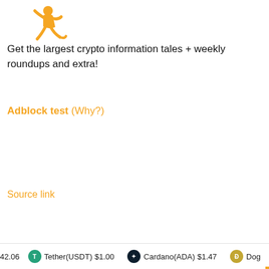[Figure (illustration): Orange running figure logo, partially cropped at top]
Get the largest crypto information tales + weekly roundups and extra!
Adblock test (Why?)
Source link
42.06   Tether(USDT) $1.00   Cardano(ADA) $1.47   Doge